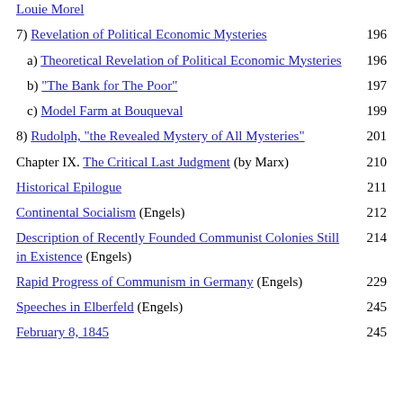Louie Morel
7) Revelation of Political Economic Mysteries    196
a) Theoretical Revelation of Political Economic Mysteries    196
b) "The Bank for The Poor"    197
c) Model Farm at Bouqueval    199
8) Rudolph, "the Revealed Mystery of All Mysteries"    201
Chapter IX. The Critical Last Judgment (by Marx)    210
Historical Epilogue    211
Continental Socialism (Engels)    212
Description of Recently Founded Communist Colonies Still in Existence (Engels)    214
Rapid Progress of Communism in Germany (Engels)    229
Speeches in Elberfeld (Engels)    245
February 8, 1845    245